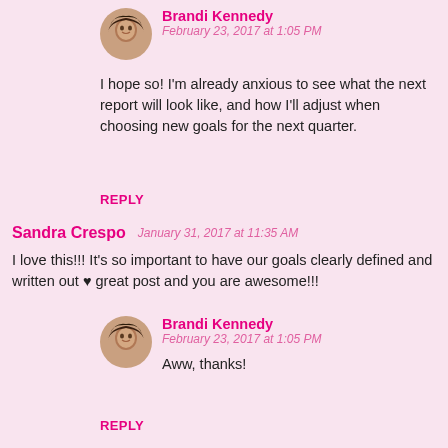[Figure (photo): Round avatar photo of Brandi Kennedy]
Brandi Kennedy
February 23, 2017 at 1:05 PM
I hope so! I'm already anxious to see what the next report will look like, and how I'll adjust when choosing new goals for the next quarter.
REPLY
Sandra Crespo
January 31, 2017 at 11:35 AM
I love this!!! It's so important to have our goals clearly defined and written out ♥ great post and you are awesome!!!
[Figure (photo): Round avatar photo of Brandi Kennedy]
Brandi Kennedy
February 23, 2017 at 1:05 PM
Aww, thanks!
REPLY